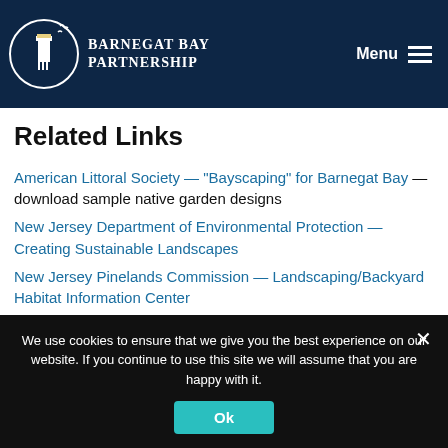Barnegat Bay Partnership — Menu
Related Links
American Littoral Society — “Bayscaping” for Barnegat Bay — download sample native garden designs
New Jersey Department of Environmental Protection — Creating Sustainable Landscapes
New Jersey Pinelands Commission — Landscaping/Backyard Habitat Information Center
We use cookies to ensure that we give you the best experience on our website. If you continue to use this site we will assume that you are happy with it.